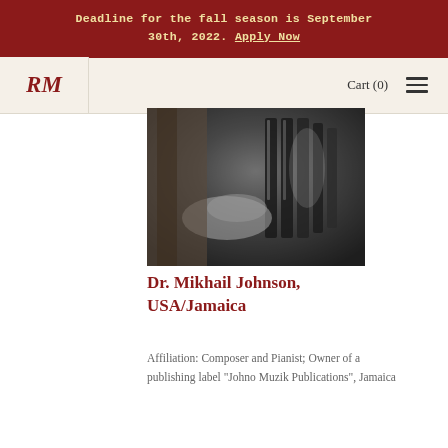Deadline for the fall season is September 30th, 2022. Apply Now
RM   Cart (0)
[Figure (photo): Black and white photograph of a person playing piano, hands visible on keys in dark artistic lighting]
Dr. Mikhail Johnson, USA/Jamaica
Affiliation: Composer and Pianist; Owner of a publishing label "Johno Muzik Publications", Jamaica